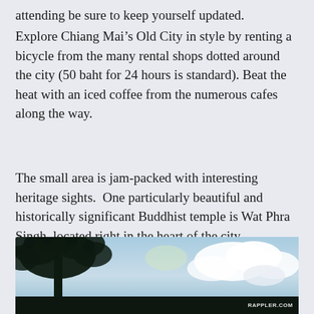attending be sure to keep yourself updated.
Explore Chiang Mai’s Old City in style by renting a bicycle from the many rental shops dotted around the city (50 baht for 24 hours is standard). Beat the heat with an iced coffee from the numerous cafes along the way.
The small area is jam-packed with interesting heritage sights.  One particularly beautiful and historically significant Buddhist temple is Wat Phra Singh, located right in the heart of the city.
[Figure (photo): Outdoor photo showing silhouette of a tree against a blue sky with white clouds in the background.]